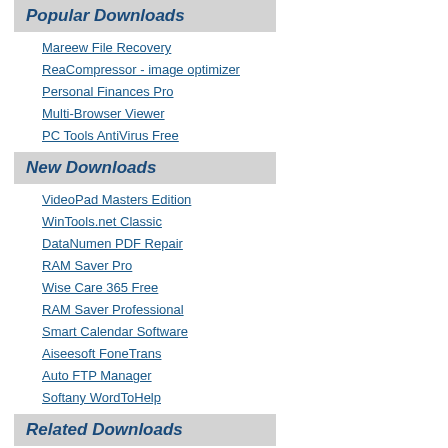Popular Downloads
Mareew File Recovery
ReaCompressor - image optimizer
Personal Finances Pro
Multi-Browser Viewer
PC Tools AntiVirus Free
New Downloads
VideoPad Masters Edition
WinTools.net Classic
DataNumen PDF Repair
RAM Saver Pro
Wise Care 365 Free
RAM Saver Professional
Smart Calendar Software
Aiseesoft FoneTrans
Auto FTP Manager
Softany WordToHelp
Related Downloads
Navigator Ie
1st Navigator
Stock Navigator
Netscape Navigator
Navigator Voice